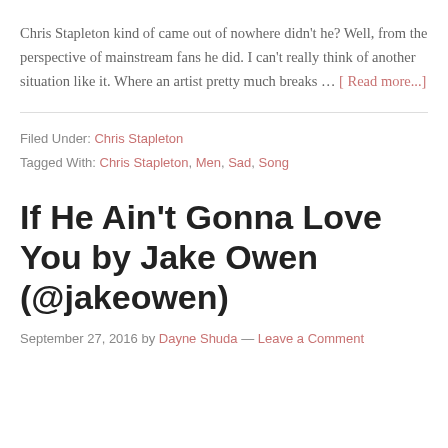Chris Stapleton kind of came out of nowhere didn't he? Well, from the perspective of mainstream fans he did. I can't really think of another situation like it. Where an artist pretty much breaks … [Read more...]
Filed Under: Chris Stapleton
Tagged With: Chris Stapleton, Men, Sad, Song
If He Ain't Gonna Love You by Jake Owen (@jakeowen)
September 27, 2016 by Dayne Shuda — Leave a Comment